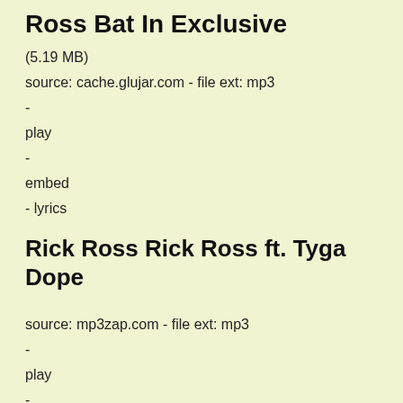Ross Bat In Exclusive
(5.19 MB)
source: cache.glujar.com - file ext: mp3
-
play
-
embed
- lyrics
Rick Ross Rick Ross ft. Tyga Dope
source: mp3zap.com - file ext: mp3
-
play
-
embed
- lyrics
Tyga ft. Rick Ross Dope